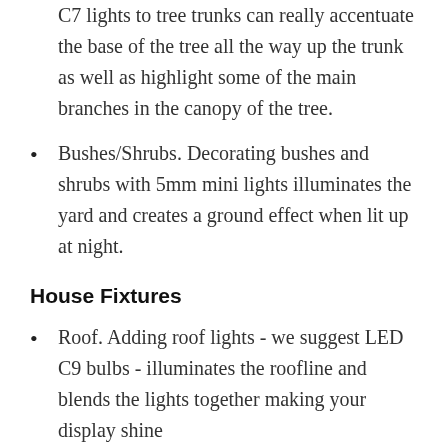C7 lights to tree trunks can really accentuate the base of the tree all the way up the trunk as well as highlight some of the main branches in the canopy of the tree.
Bushes/Shrubs. Decorating bushes and shrubs with 5mm mini lights illuminates the yard and creates a ground effect when lit up at night.
House Fixtures
Roof. Adding roof lights - we suggest LED C9 bulbs - illuminates the roofline and blends the lights together making your display shine